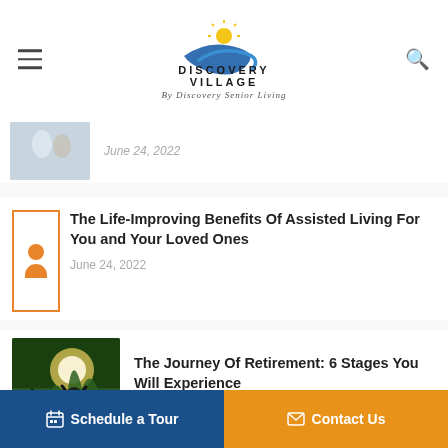Discovery Village By Discovery Senior Living
[Figure (photo): Partial thumbnail of two people in light-colored clothing, partially cropped]
June 24, 2022
The Life-Improving Benefits Of Assisted Living For You and Your Loved Ones
June 24, 2022
[Figure (photo): Three people with backpacks viewed from behind, arms raised, standing in a sunlit forest]
The Journey Of Retirement: 6 Stages You Will Experience
June 23, 2022
Schedule a Tour   Contact Us